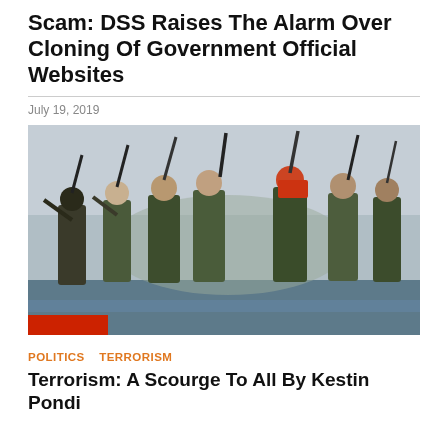Scam: DSS Raises The Alarm Over Cloning Of Government Official Websites
July 19, 2019
[Figure (photo): Armed militants in camouflage uniforms raising rifles in the air, some wearing red head coverings, standing on a boat with smoke in the background.]
POLITICS  TERRORISM
Terrorism: A Scourge To All By Kestin Pondi